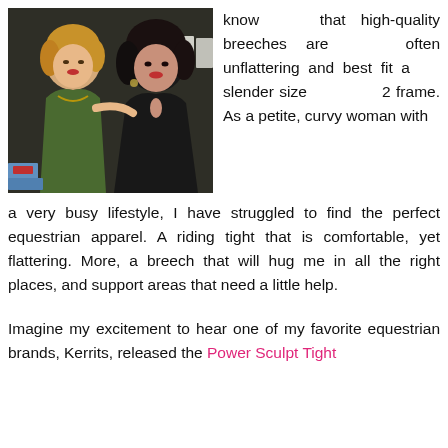[Figure (photo): Two women posing together. One wearing a green wrap dress with a gold necklace, the other wearing a black halter dress. Background shows a dark wall with some shopping bags and display items.]
know that high-quality breeches are often unflattering and best fit a slender size 2 frame. As a petite, curvy woman with a very busy lifestyle, I have struggled to find the perfect equestrian apparel. A riding tight that is comfortable, yet flattering. More, a breech that will hug me in all the right places, and support areas that need a little help.
Imagine my excitement to hear one of my favorite equestrian brands, Kerrits, released the Power Sculpt Tight